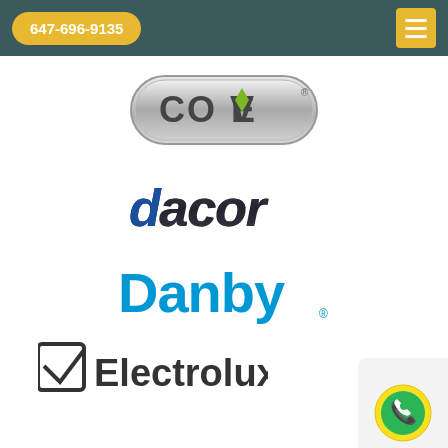647-696-9135
[Figure (logo): Cove appliance brand logo — metallic pill-shaped badge with 'COVE' text and a green diamond/leaf icon over the V]
[Figure (logo): Dacor appliance brand logo — italic bold 'dacor' text in dark gray/black with blue accent on the d]
[Figure (logo): Danby appliance brand logo — 'Danby' in bold blue text with a registered trademark symbol]
[Figure (logo): Electrolux appliance brand logo — 'Electrolux' text with a stylized square icon, partially visible at the bottom]